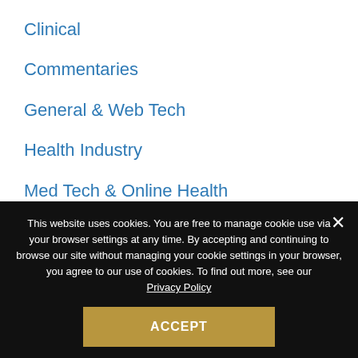Clinical
Commentaries
General & Web Tech
Health Industry
Med Tech & Online Health
Related Services
Telehealth
Uncategorized
This website uses cookies. You are free to manage cookie use via your browser settings at any time. By accepting and continuing to browse our site without managing your cookie settings in your browser, you agree to our use of cookies. To find out more, see our Privacy Policy
ACCEPT